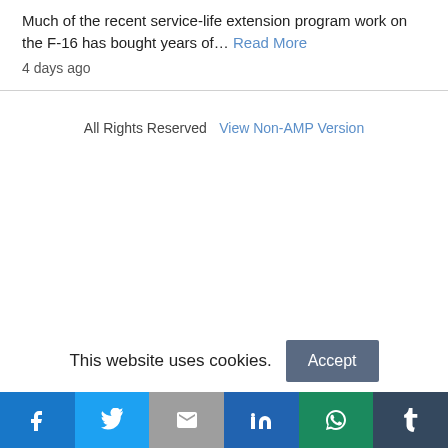Much of the recent service-life extension program work on the F-16 has bought years of… Read More
4 days ago
All Rights Reserved   View Non-AMP Version
This website uses cookies.
Facebook | Twitter | Gmail | LinkedIn | WhatsApp | Tumblr